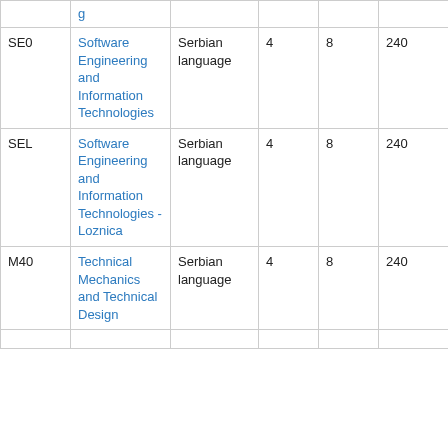|  |  |  |  |  |  |
| --- | --- | --- | --- | --- | --- |
|  |  |  |  |  |  |
| SE0 | Software Engineering and Information Technologies | Serbian language | 4 | 8 | 240 |
| SEL | Software Engineering and Information Technologies - Loznica | Serbian language | 4 | 8 | 240 |
| M40 | Technical Mechanics and Technical Design | Serbian language | 4 | 8 | 240 |
|  |  |  |  |  |  |